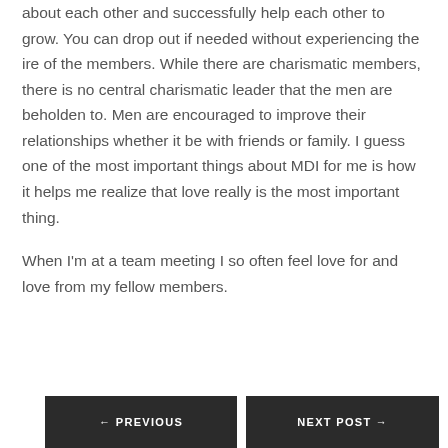I've always found it to be teams of men who care about each other and successfully help each other to grow. You can drop out if needed without experiencing the ire of the members. While there are charismatic members, there is no central charismatic leader that the men are beholden to. Men are encouraged to improve their relationships whether it be with friends or family. I guess one of the most important things about MDI for me is how it helps me realize that love really is the most important thing.
When I'm at a team meeting I so often feel love for and love from my fellow members.
← PREVIOUS    NEXT POST →